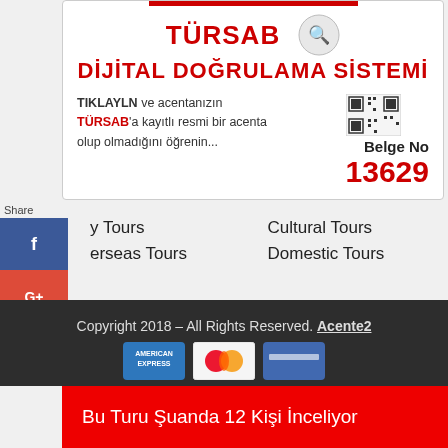[Figure (screenshot): TÜRSAB Dijital Doğrulama Sistemi banner showing logo, title text, verification description in Turkish, and Belge No 13629]
Share
[Figure (infographic): Social share sidebar with Facebook, Google+, Twitter, WhatsApp, and Email buttons]
y Tours
Cultural Tours
erseas Tours
Domestic Tours
Copyright 2018 – All Rights Reserved. Acente2
[Figure (infographic): Payment card logos: American Express, Mastercard, and a blue card]
Bu Turu Şuanda 12 Kişi İnceliyor